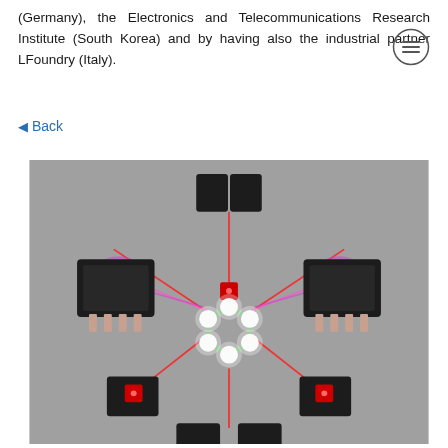(Germany), the Electronics and Telecommunications Research Institute (South Korea) and by having also the industrial partner LFoundry (Italy).
Back
[Figure (photo): 3D rendering of a photonic quantum network or optical experiment setup showing black rectangular devices (possibly optical components or detectors) arranged in a circular pattern, connected by red laser beams forming a star/hexagon pattern. At the center is a hexagonal structure with white glowing nodes connected by green lines. Two of the black devices on the left and right emit purple/violet light. The background is gray.]